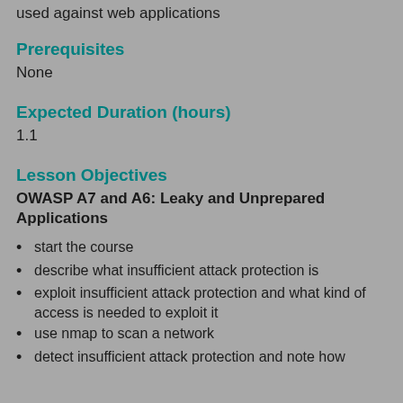used against web applications
Prerequisites
None
Expected Duration (hours)
1.1
Lesson Objectives
OWASP A7 and A6: Leaky and Unprepared Applications
start the course
describe what insufficient attack protection is
exploit insufficient attack protection and what kind of access is needed to exploit it
use nmap to scan a network
detect insufficient attack protection and note how